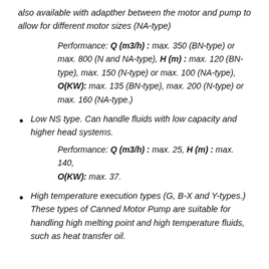also available with adapther between the motor and pump to allow for different motor sizes (NA-type)
Performance: Q (m3/h) : max. 350 (BN-type) or max. 800 (N and NA-type), H (m) : max. 120 (BN-type), max. 150 (N-type) or max. 100 (NA-type), O(KW): max. 135 (BN-type), max. 200 (N-type) or max. 160 (NA-type.)
Low NS type. Can handle fluids with low capacity and higher head systems.
Performance: Q (m3/h) : max. 25, H (m) : max. 140, O(KW): max. 37.
High temperature execution types (G, B-X and Y-types.) These types of Canned Motor Pump are suitable for handling high melting point and high temperature fluids, such as heat transfer oil.